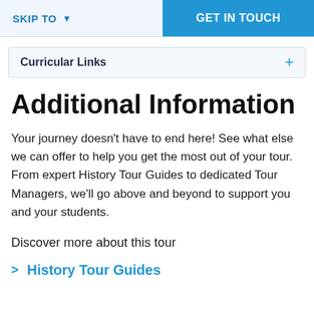SKIP TO ▾   GET IN TOUCH
Curricular Links +
Additional Information
Your journey doesn't have to end here! See what else we can offer to help you get the most out of your tour. From expert History Tour Guides to dedicated Tour Managers, we'll go above and beyond to support you and your students.
Discover more about this tour
History Tour Guides